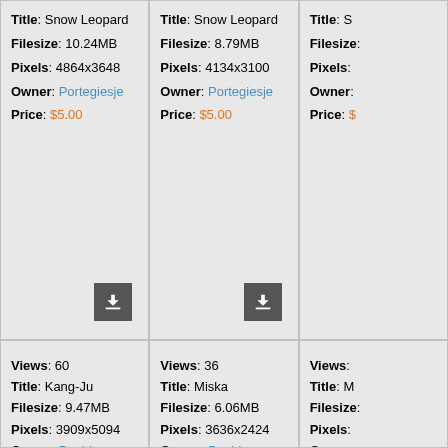Title: Snow Leopard
Filesize: 10.24MB
Pixels: 4864x3648
Owner: Portegiesje
Price: $5.00
Title: Snow Leopard
Filesize: 8.79MB
Pixels: 4134x3100
Owner: Portegiesje
Price: $5.00
Title: S...
Filesize: ...
Pixels: ...
Owner: ...
Price: $...
[Figure (photo): Close-up black and white photograph of a snow leopard face, titled Kang-Ju]
Views: 60
Title: Kang-Ju
Filesize: 9.47MB
Pixels: 3909x5094
Owner: David Whelan
[Figure (photo): Close-up photograph of a snow leopard face looking forward, titled Miska]
Views: 36
Title: Miska
Filesize: 6.06MB
Pixels: 3636x2424
Owner: David Whelan
[Figure (photo): Partial view of a snow leopard, title starting with M]
Views: ...
Title: M...
Filesize: ...
Pixels: ...
Owner: ...